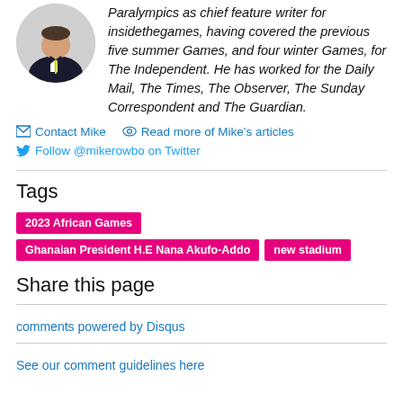[Figure (photo): Headshot of Mike in a suit with a yellow/green tie, circular crop]
Paralympics as chief feature writer for insidethegames, having covered the previous five summer Games, and four winter Games, for The Independent. He has worked for the Daily Mail, The Times, The Observer, The Sunday Correspondent and The Guardian.
Contact Mike
Read more of Mike's articles
Follow @mikerowbo on Twitter
Tags
2023 African Games
Ghanaian President H.E Nana Akufo-Addo
new stadium
Share this page
comments powered by Disqus
See our comment guidelines here